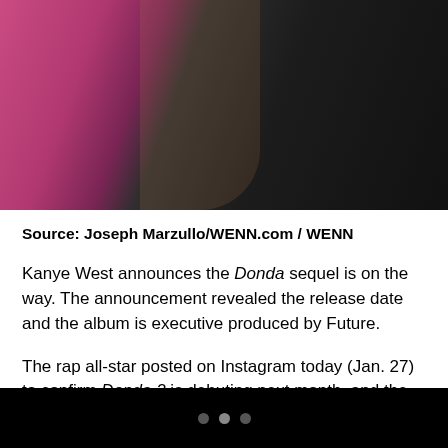[Figure (photo): Close-up photo of a person partially visible; pink/magenta clothing on left, dark black jacket or outfit on right side, hair visible.]
Source: Joseph Marzullo/WENN.com / WENN
Kanye West announces the Donda sequel is on the way. The announcement revealed the release date and the album is executive produced by Future.
The rap all-star posted on Instagram today (Jan. 27) to confirm Donda 2 is debuting next month, and the album is being executive produced by rapper Future.